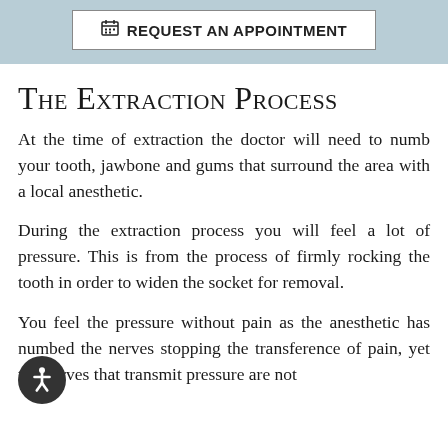[Figure (other): Appointment request button with calendar icon inside a light blue banner]
The Extraction Process
At the time of extraction the doctor will need to numb your tooth, jawbone and gums that surround the area with a local anesthetic.
During the extraction process you will feel a lot of pressure. This is from the process of firmly rocking the tooth in order to widen the socket for removal.
You feel the pressure without pain as the anesthetic has numbed the nerves stopping the transference of pain, yet the nerves that transmit pressure are not